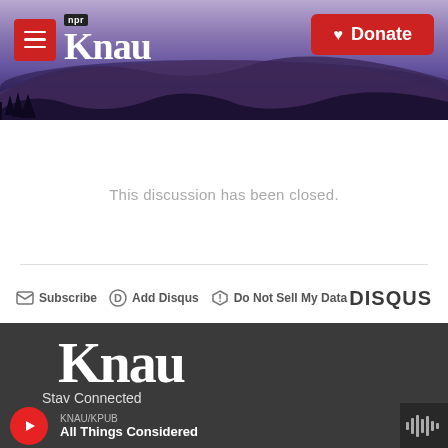[Figure (screenshot): KNAU NPR radio station website header with purple mountain landscape background, hamburger menu button, KNAU logo, and red Donate button]
This discussion has been closed.
Subscribe  Add Disqus  Do Not Sell My Data  DISQUS
[Figure (logo): KNAU radio station wordmark logo in white on dark gray footer background]
Stay Connected
[Figure (screenshot): Twitter and Facebook social media icon buttons (black circles with white icons)]
KNAU/KPUB
All Things Considered